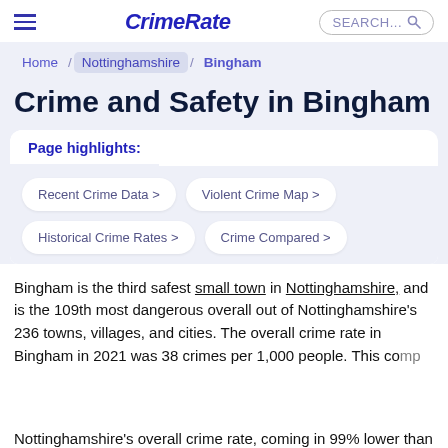CrimeRate
Home / Nottinghamshire / Bingham
Crime and Safety in Bingham
Page highlights:
Recent Crime Data >
Violent Crime Map >
Historical Crime Rates >
Crime Compared >
Bingham is the third safest small town in Nottinghamshire, and is the 109th most dangerous overall out of Nottinghamshire's 236 towns, villages, and cities. The overall crime rate in Bingham in 2021 was 38 crimes per 1,000 people. This co... Nottinghamshire's overall crime rate, coming in 99% lower than the